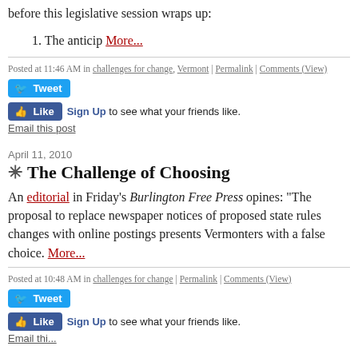before this legislative session wraps up:
1. The anticip More...
Posted at 11:46 AM in challenges for change, Vermont | Permalink | Comments (View)
[Figure (screenshot): Twitter Tweet button (blue), Facebook Like button (blue) with 'Sign Up to see what your friends like.', and Email this post link]
April 11, 2010
✳ The Challenge of Choosing
An editorial in Friday's Burlington Free Press opines: "The proposal to replace newspaper notices of proposed state rules changes with online postings presents Vermonters with a false choice. More...
Posted at 10:48 AM in challenges for change | Permalink | Comments (View)
[Figure (screenshot): Twitter Tweet button (blue), Facebook Like button (blue) with 'Sign Up to see what your friends like.', and Email this post link (partially visible)]